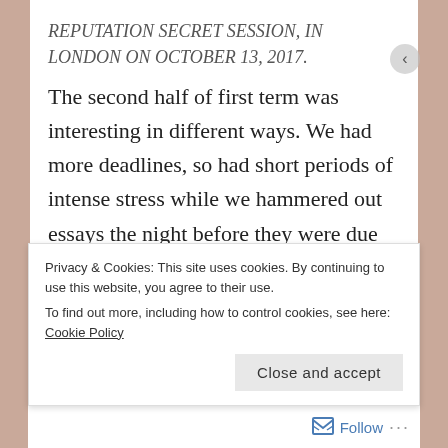REPUTATION SECRET SESSION, IN LONDON ON OCTOBER 13, 2017.
The second half of first term was interesting in different ways. We had more deadlines, so had short periods of intense stress while we hammered out essays the night before they were due in, frantically reading them over at 2am to check for any spelling or grammar issues that would need rectifying before the 10am deadline. I also got a lot more confident during these six weeks, and learnt a lot about myself. I started seeing more films, partly because I live insanely close to a cinema, and fell in love with films that before university I would never have
Privacy & Cookies: This site uses cookies. By continuing to use this website, you agree to their use.
To find out more, including how to control cookies, see here: Cookie Policy
Close and accept
Follow